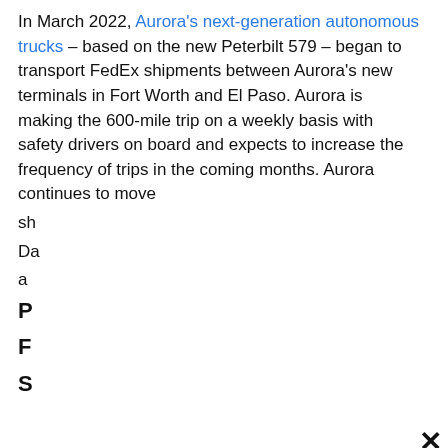In March 2022, Aurora's next-generation autonomous trucks – based on the new Peterbilt 579 – began to transport FedEx shipments between Aurora's new terminals in Fort Worth and El Paso. Aurora is making the 600-mile trip on a weekly basis with safety drivers on board and expects to increase the frequency of trips in the coming months. Aurora continues to move sh... Da... a...
P... F... S...
[Figure (screenshot): Cookie consent modal overlay with cookie icon, text 'We use cookies on this site to enhance your user experience. For a complete overview of the cookies used, see our cookie policy.' and a dark 'GOT IT' button. A close (X) button appears at top right.]